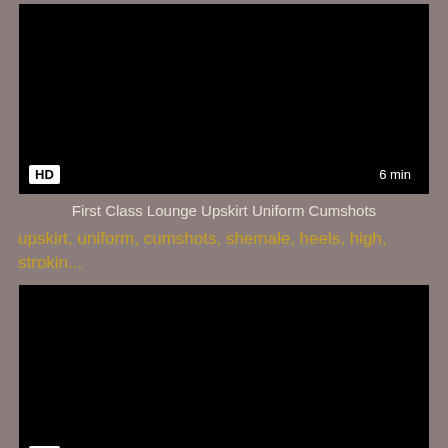[Figure (screenshot): Black video thumbnail with HD badge bottom-left and 6 min badge bottom-right]
First Class Lounge Upskirt Uniform Cumshots
upskirt, uniform, cumshots, shemale, heels, high, strokin...
[Figure (screenshot): Black video thumbnail with HD badge bottom-left and 6 min badge bottom-right]
Anal Dildo Play For Pussy European Babe